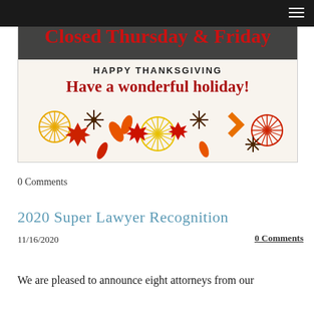[Figure (illustration): Thanksgiving holiday notice card with autumn floral decorations. Text reads: 'Closed Thursday & Friday', 'HAPPY THANKSGIVING', 'Have a wonderful holiday!' with colorful fall flowers and leaves in red, orange, yellow, and dark brown.]
0 Comments
2020 Super Lawyer Recognition
11/16/2020
0 Comments
We are pleased to announce eight attorneys from our